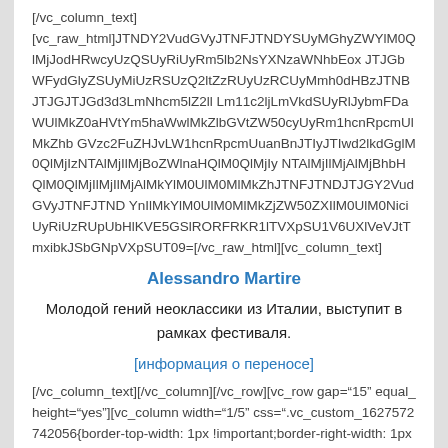[/vc_column_text]
[vc_raw_html]JTNDY2VudGVyJTNFJTNDYSUyMGhyZWYlM0QlMjJodHRwcyUzQSUyRiUyRm5lb2NsYXNzaWNhbEoxJTJGbWFydGlyZSUyMiUzRSUzQ2ltZyUyMiUzRSUzQ2ltZzRUyUzRCUyMmh0dHBzJTNBJTJGJTJGd3d3LmNhcm5lZ2llLm11c2ljLmVkdSUyRlJybmFDaWUlMkZ0aHVtYm5haWwlMkZlbGVtZW50cyUyRm1hcnRpcmUlMkZhbGVzc2FuZHJvLW1hcnRpcmUuanBnJTIyJTIwd2lkdGglM0QlMjIzNTAlMjIlMjBoZWlnaHQlM0QlMjIyNTAlMjIlMjAlMjBhbHQlM0QlMjIlMjIlMjAlMkYlM0UlM0MlMkZhJTNFJTNDJTJGY2VudGVyJTNFJTNDYnIlMkYlM0UlM0MlMkZjZW50ZXIlM0UlM0NiciUyRiUzRUpUbHlKVE5GSlRORFRKR1lTVXpSU1V6UXlVeVJtTmxibkJSbGNpVXpSUT09=[/vc_raw_html][vc_column_text]
Alessandro Martire
Молодой гений неоклассики из Италии, выступит в рамках фестиваля.
[информация о переносе]
[/vc_column_text][/vc_column][/vc_row][vc_row gap="15" equal_height="yes"][vc_column width="1/5" css=".vc_custom_1627572742056{border-top-width: 1px !important;border-right-width: 1px !important;border-bottom-width: 1px !important;border-left-width: 1px